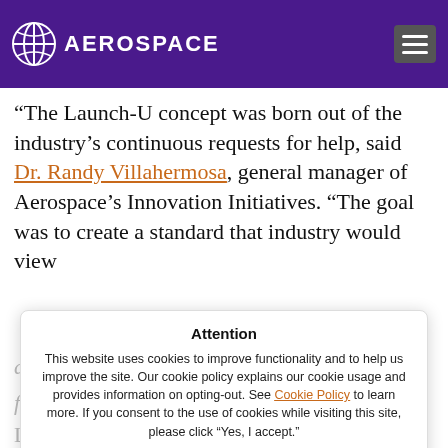AEROSPACE
“The Launch-U concept was born out of the industry’s continuous requests for help, said Dr. Randy Villahermosa, general manager of Aerospace’s Innovation Initiatives. “The goal was to create a standard that industry would view as enabling rather than an impediment to...
Attention
This website uses cookies to improve functionality and to help us improve the site. Our cookie policy explains our cookie usage and provides information on opting-out. See Cookie Policy to learn more. If you consent to the use of cookies while visiting this site, please click “Yes, I accept.”
YES - I ACCEPT